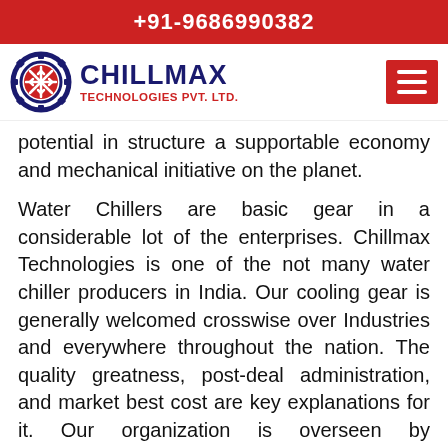+91-9686990382
[Figure (logo): Chillmax Technologies Pvt. Ltd. logo with gear and snowflake icon]
potential in structure a supportable economy and mechanical initiative on the planet.
Water Chillers are basic gear in a considerable lot of the enterprises. Chillmax Technologies is one of the not many water chiller producers in India. Our cooling gear is generally welcomed crosswise over Industries and everywhere throughout the nation. The quality greatness, post-deal administration, and market best cost are key explanations for it. Our organization is overseen by experienced technocrats who are having many years of specialized involvement in the chillers